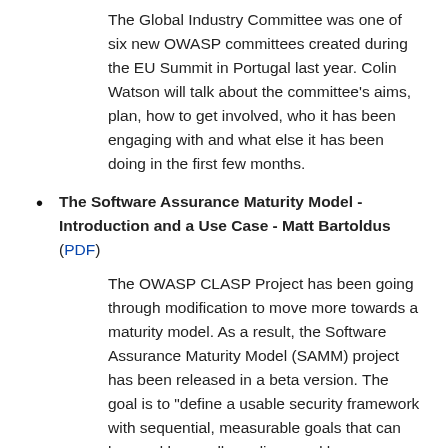The Global Industry Committee was one of six new OWASP committees created during the EU Summit in Portugal last year. Colin Watson will talk about the committee's aims, plan, how to get involved, who it has been engaging with and what else it has been doing in the first few months.
The Software Assurance Maturity Model - Introduction and a Use Case - Matt Bartoldus (PDF)
The OWASP CLASP Project has been going through modification to move more towards a maturity model. As a result, the Software Assurance Maturity Model (SAMM) project has been released in a beta version. The goal is to "define a usable security framework with sequential, measurable goals that can be used by small, medium, and large organisations in any line of business that involves software development". This talk will introduce SAMM and give a brief overview of its contents. We will then discuss how SAMM is currently being used to measure the level of information security activities within an EU based financial organisation's development methodology and providing the